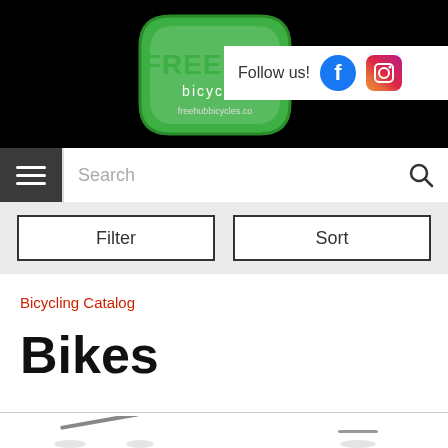[Figure (logo): Freehub Bicycles logo - green diamond shape with white text reading FREEHUB bicycles and freehubbicycles.com]
Follow us!
[Figure (logo): Facebook and Instagram social media icons]
[Figure (screenshot): Hamburger menu icon (three horizontal white lines on dark background)]
Search
Filter
Sort
Bicycling Catalog
Bikes